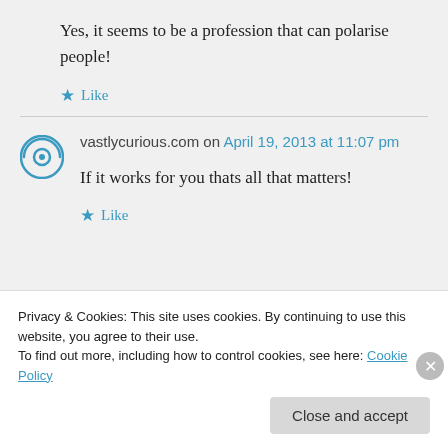Yes, it seems to be a profession that can polarise people!
Like
vastlycurious.com on April 19, 2013 at 11:07 pm
If it works for you thats all that matters!
Like
Privacy & Cookies: This site uses cookies. By continuing to use this website, you agree to their use.
To find out more, including how to control cookies, see here: Cookie Policy